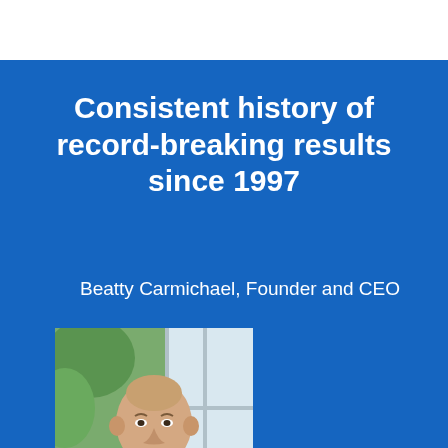Consistent history of record-breaking results since 1997
Beatty Carmichael, Founder and CEO
[Figure (photo): Headshot of Beatty Carmichael, a middle-aged bald man in a grey blazer and white shirt, smiling, photographed outdoors near a window with green foliage in the background.]